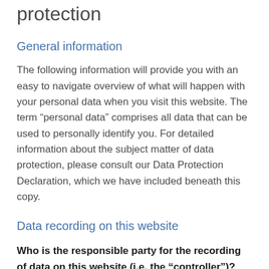1 An overview of data protection
General information
The following information will provide you with an easy to navigate overview of what will happen with your personal data when you visit this website. The term “personal data” comprises all data that can be used to personally identify you. For detailed information about the subject matter of data protection, please consult our Data Protection Declaration, which we have included beneath this copy.
Data recording on this website
Who is the responsible party for the recording of data on this website (i.e. the “controller”)?